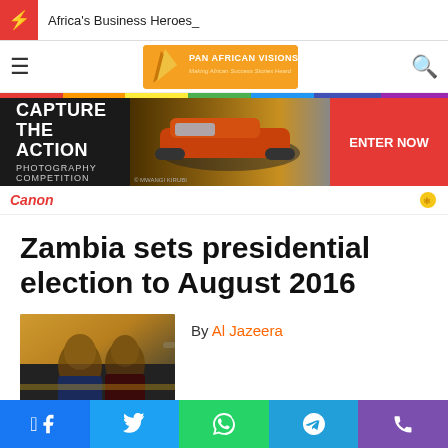Africa's Business Heroes_
[Figure (logo): Pan African Visions logo - Making African Success Stories Heard]
[Figure (photo): Canon Capture The Action Photography Competition advertisement banner with racing car]
Zambia sets presidential election to August 2016
[Figure (photo): Photo of Zambian officials at presidential event]
By Al Jazeera